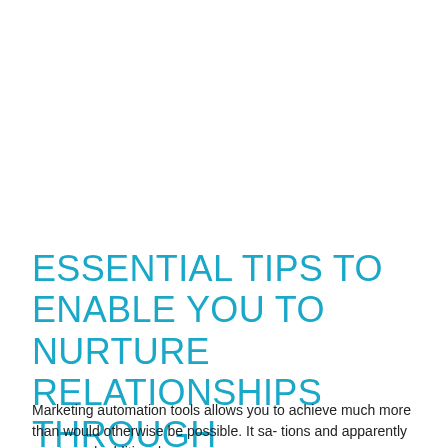ESSENTIAL TIPS TO ENABLE YOU TO NURTURE RELATIONSHIPS THROUGH MARKETING AUTOMATION
Marketing automation tools allows you to achieve much more than would otherwise be possible. It sa- tions and apparently you to and additional...